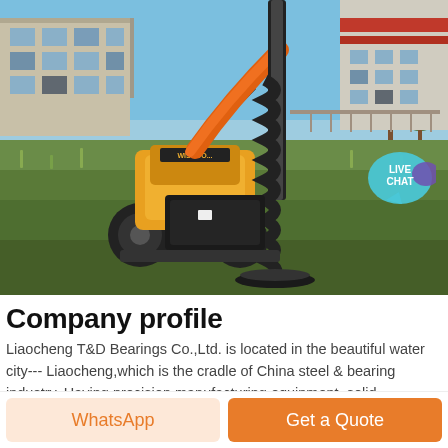[Figure (photo): A yellow and black mini skid steer loader with an auger attachment, photographed outdoors in a grassy field with an industrial building in the background. A 'LIVE CHAT' speech bubble overlay is visible in the top right corner.]
Company profile
Liaocheng T&D Bearings Co.,Ltd. is located in the beautiful water city--- Liaocheng,which is the cradle of China steel & bearing industry. Having precision manufacturing equipment, solid technological strength, consummated